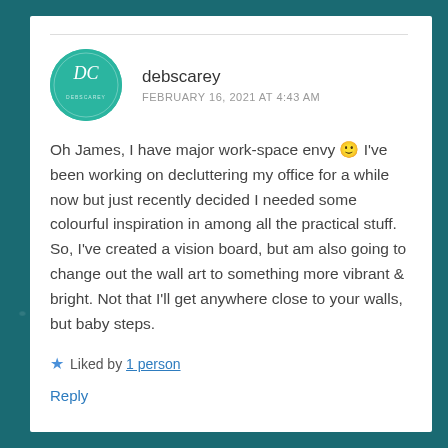debscarey
FEBRUARY 16, 2021 AT 4:43 AM
Oh James, I have major work-space envy 🙂 I've been working on decluttering my office for a while now but just recently decided I needed some colourful inspiration in among all the practical stuff. So, I've created a vision board, but am also going to change out the wall art to something more vibrant & bright. Not that I'll get anywhere close to your walls, but baby steps.
★ Liked by 1 person
Reply